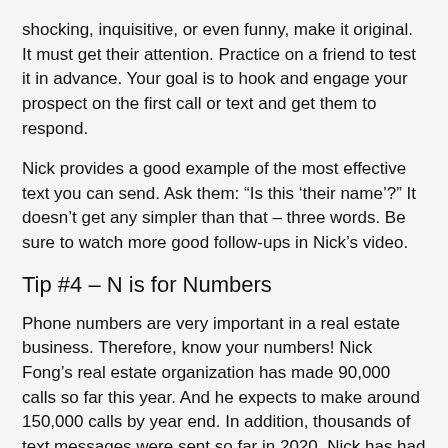shocking, inquisitive, or even funny, make it original.  It must get their attention.  Practice on a friend to test it in advance.  Your goal is to hook and engage your prospect on the first call or text and get them to respond.
Nick provides a good example of the most effective text you can send.  Ask them:  "Is this 'their name'?"  It doesn't get any simpler than that – three words.  Be sure to watch more good follow-ups in Nick's video.
Tip #4 – N is for Numbers
Phone numbers are very important in a real estate business.  Therefore, know your numbers!  Nick Fong's real estate organization has made 90,000 calls so far this year.  And he expects to make around 150,000 calls by year end.  In addition, thousands of text messages were sent so far in 2020.  Nick has had a 31% contact rate.  To make so many calls and text messages, use a CRM (Customer Relationship Management System).  There are some good